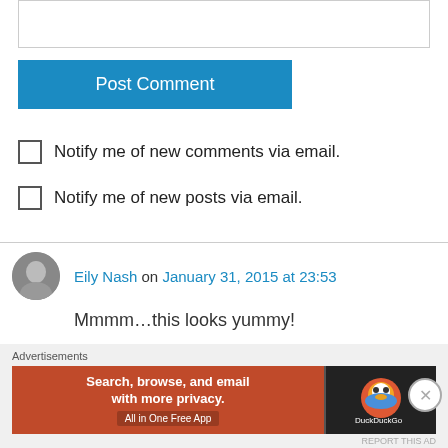[Figure (other): Text input field (empty comment box)]
Post Comment
Notify me of new comments via email.
Notify me of new posts via email.
Eily Nash on January 31, 2015 at 23:53
Mmmm…this looks yummy!
Liked by 1 person
Reply
Advertisements
[Figure (screenshot): DuckDuckGo advertisement banner — Search, browse, and email with more privacy. All in One Free App]